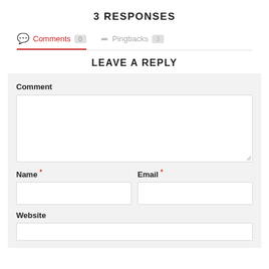3 RESPONSES
Comments 0   Pingbacks 3
LEAVE A REPLY
Comment
Name *
Email *
Website